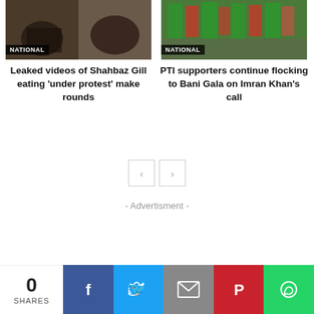[Figure (photo): Photo of a person associated with Shahbaz Gill story, with NATIONAL badge overlay]
Leaked videos of Shahbaz Gill eating ‘under protest’ make rounds
[Figure (photo): Photo of PTI supporters with flags at Bani Gala, with NATIONAL badge overlay]
PTI supporters continue flocking to Bani Gala on Imran Khan’s call
- Advertisment -
0 SHARES | Facebook | Twitter | Email | Pinterest | WhatsApp